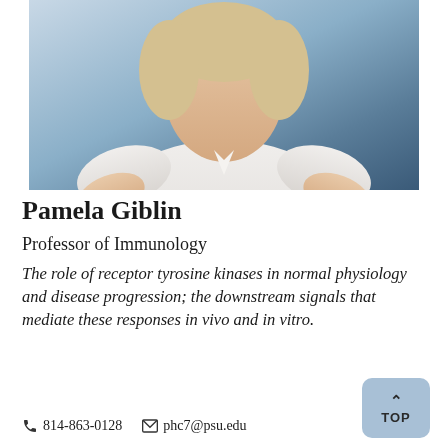[Figure (photo): Professional headshot photo of Pamela Giblin, a woman with light hair wearing a white short-sleeve button-up shirt, photographed against a blue-grey blurred background.]
Pamela Giblin
Professor of Immunology
The role of receptor tyrosine kinases in normal physiology and disease progression; the downstream signals that mediate these responses in vivo and in vitro.
📞 814-863-0128   ✉ phc7@psu.edu